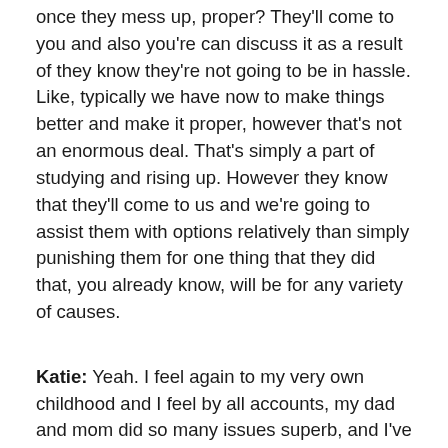once they mess up, proper? They'll come to you and also you're can discuss it as a result of they know they're not going to be in hassle. Like, typically we have now to make things better and make it proper, however that's not an enormous deal. That's simply a part of studying and rising up. However they know that they'll come to us and we're going to assist them with options relatively than simply punishing them for one thing that they did that, you already know, will be for any variety of causes.
Katie: Yeah. I feel again to my very own childhood and I feel by all accounts, my dad and mom did so many issues superb, and I've realized a lot from them. However I may also consider cases in my childhood the place their reactions have been extra in that blame, disgrace class, and even at a younger age. After which after I was an